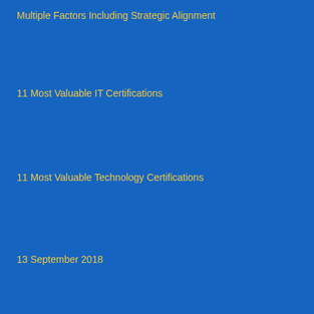Multiple Factors Including Strategic Alignment
11 Most Valuable IT Certifications
11 Most Valuable Technology Certifications
13 September 2018
13-15 May 2019
14 August 2018
22 Best Scrum Books of All Time
25 July 2017
25 or more reviews